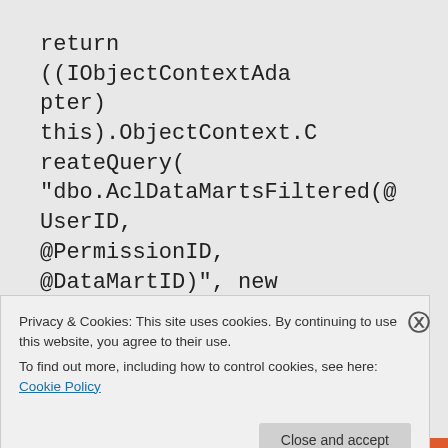return
((IObjectContextAdapter)
this).ObjectContext.CreateQuery(
"dbo.AclDataMartsFiltered(@UserID,
@PermissionID,
@DataMartID)", new
ObjectParameter("UserID", userID), new
Privacy & Cookies: This site uses cookies. By continuing to use this website, you agree to their use.
To find out more, including how to control cookies, see here: Cookie Policy